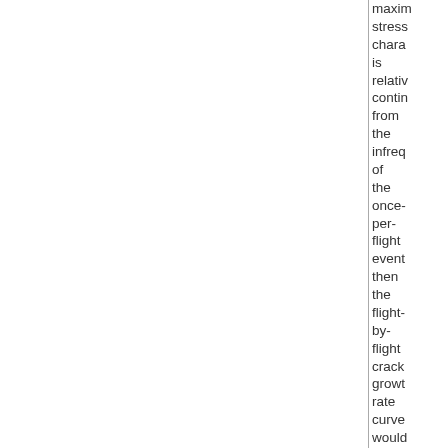maxim stress chara is relativ contin from the infreq of the once-per-flight event then the flight-by-flight crack growth rate curve would also